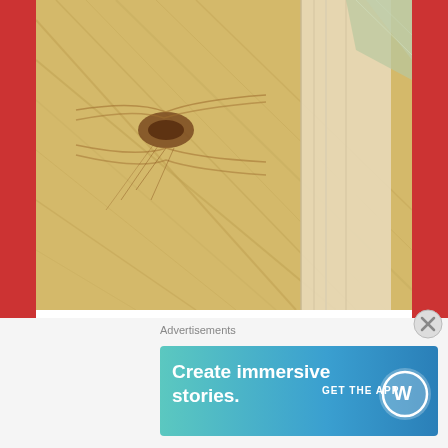[Figure (photo): Close-up photo of light pine wood grain with a knot, showing the edge of a wooden plank or box with a plastic or foil material visible in the top right corner.]
I managed to do this with the knife. Somehow. I impressed Geoffrey.
[Figure (photo): Partial view of another photo at the bottom of the page, mostly cropped.]
Advertisements
[Figure (screenshot): WordPress advertisement banner: 'Create immersive stories. GET THE APP' with WordPress logo.]